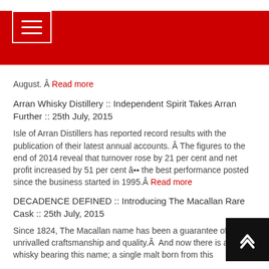Navigation menu header bar with hamburger icon
August. Â Read more
Arran Whisky Distillery :: Independent Spirit Takes Arran Further :: 25th July, 2015
Isle of Arran Distillers has reported record results with the publication of their latest annual accounts. Â The figures to the end of 2014 reveal that turnover rose by 21 per cent and net profit increased by 51 per cent âï¿½ the best performance posted since the business started in 1995.Â Read more
DECADENCE DEFINED :: Introducing The Macallan Rare Cask :: 25th July, 2015
Since 1824, The Macallan name has been a guarantee of unrivalled craftsmanship and quality.Â  And now there is a new whisky bearing this name; a single malt born from this